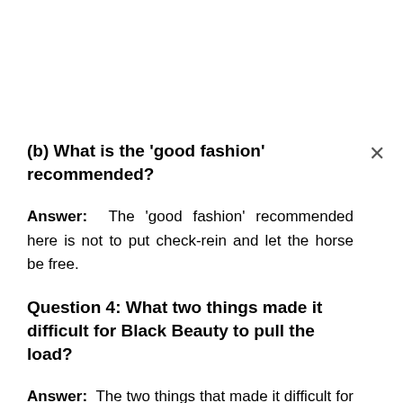(b) What is the ‘good fashion’ recommended?
Answer: The ‘good fashion’ recommended here is not to put check-rein and let the horse be free.
Question 4: What two things made it difficult for Black Beauty to pull the load?
Answer: The two things that made it difficult for Black Beauty to pull the load were: